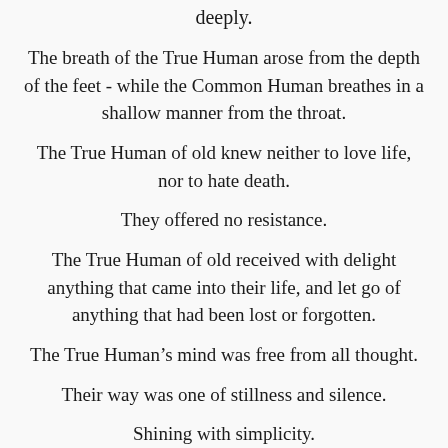deeply.
The breath of the True Human arose from the depth of the feet - while the Common Human breathes in a shallow manner from the throat.
The True Human of old knew neither to love life, nor to hate death.
They offered no resistance.
The True Human of old received with delight anything that came into their life, and let go of anything that had been lost or forgotten.
The True Human’s mind was free from all thought.
Their way was one of stillness and silence.
Shining with simplicity.